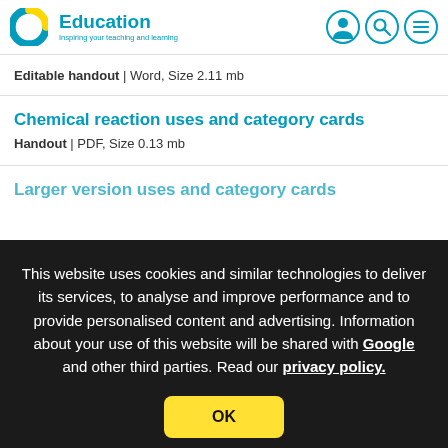C Education – Inspiring your teaching and learning
Editable handout | Word, Size 2.11 mb
Chemical reaction uses and category cards
Handout | PDF, Size 0.13 mb
Larger version uses and category cards
This website uses cookies and similar technologies to deliver its services, to analyse and improve performance and to provide personalised content and advertising. Information about your use of this website will be shared with Google and other third parties. Read our privacy policy.